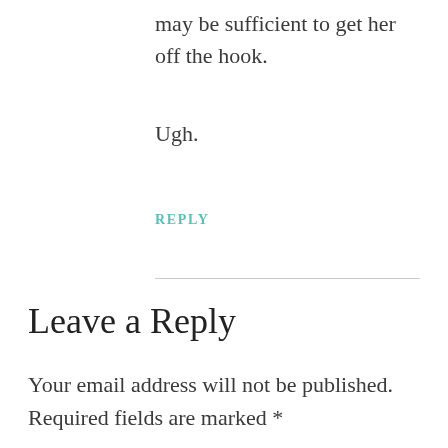may be sufficient to get her off the hook.
Ugh.
REPLY
Leave a Reply
Your email address will not be published. Required fields are marked *